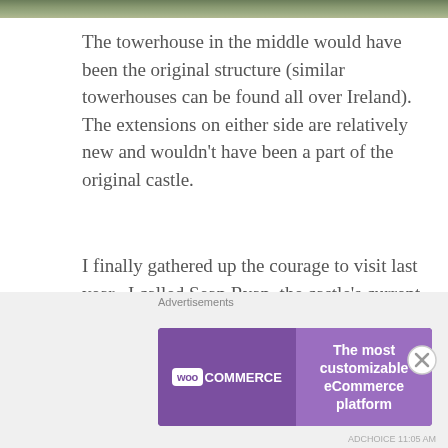[Figure (photo): Partial view of a landscape/castle photo strip at top of page]
The towerhouse in the middle would have been the original structure (similar towerhouses can be found all over Ireland). The extensions on either side are relatively new and wouldn't have been a part of the original castle.
I finally gathered up the courage to visit last year.  I called Sean Ryan, the castle's current owner, and asked for a private tour. Tours are by appointment only; he keeps the gates closed to control access to the
Advertisements
[Figure (screenshot): WooCommerce advertisement banner: 'The most customizable eCommerce platform']